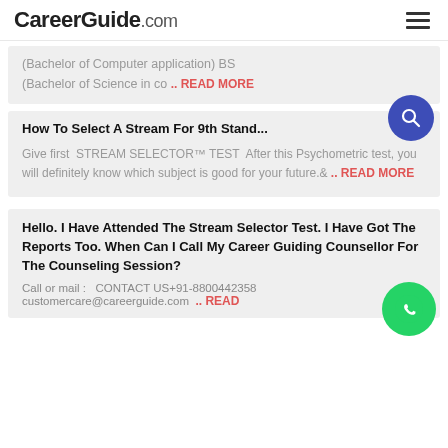CareerGuide.com
(Bachelor of Computer application) BS (Bachelor of Science in co .. READ MORE
How To Select A Stream For 9th Stand...
Give first STREAM SELECTOR™ TEST After this Psychometric test, you will definitely know which subject is good for your future.& .. READ MORE
Hello. I Have Attended The Stream Selector Test. I Have Got The Reports Too. When Can I Call My Career Guiding Counsellor For The Counseling Session?
Call or mail :  CONTACT US+91-8800442358 customercare@careerguide.com .. READ